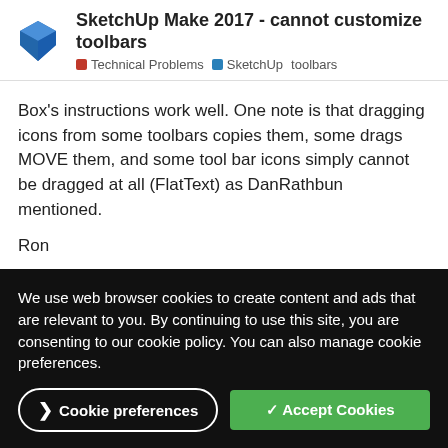SketchUp Make 2017 - cannot customize toolbars | Technical Problems | SketchUp | toolbars
Box's instructions work well. One note is that dragging icons from some toolbars copies them, some drags MOVE them, and some tool bar icons simply cannot be dragged at all (FlatText) as DanRathbun mentioned.
Ron
DanRathbun  1  Feb '17
Learned One
We use web browser cookies to create content and ads that are relevant to you. By continuing to use this site, you are consenting to our cookie policy. You can also manage cookie preferences.
Cookie preferences    ✓ Accept Cookies